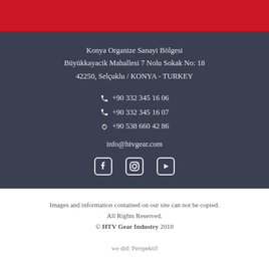Konya Organize Sanayi Bölgesi
Büyükkayacik Mahallesi 7 Nolu Sokak No: 18
42250, Selçuklu / KONYA - TURKEY
+90 332 345 16 06
+90 332 345 16 07
+90 538 660 42 86
info@htvgear.com
[Figure (other): Social media icons: Facebook, Instagram, YouTube]
Images and information contained on our site can not be copied.
All Rights Reserved.
© HTV Gear Industry 2018
we did: Perspektif